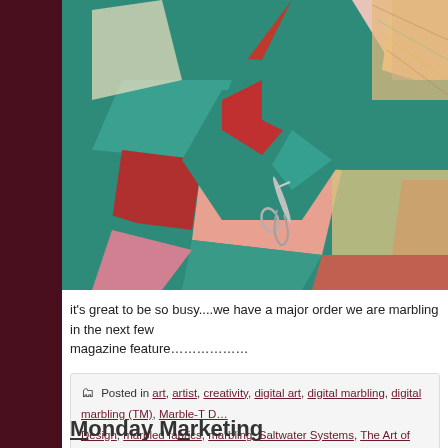[Figure (photo): Close-up photograph of a colorful quilt with teal/green, red, pink and yellow/multicolor triangular patchwork pattern. A safety pin is visible in the center-left area of the quilt.]
it's great to be so busy....we have a major order we are marbling in the next few weeks and a magazine feature…………….
Posted in art, artist, creativity, digital art, digital marbling, digital marbling (TM), Marble-T Design, marbled fabrics, marbling, Saltwater Systems, The Art of Marbling, Work in progress W…
Monday Marketing